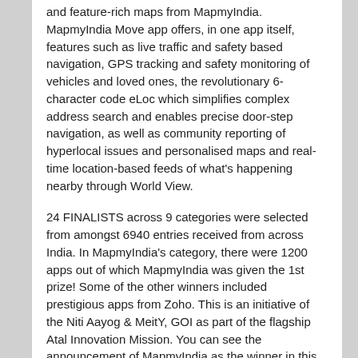and feature-rich maps from MapmyIndia. MapmyIndia Move app offers, in one app itself, features such as live traffic and safety based navigation, GPS tracking and safety monitoring of vehicles and loved ones, the revolutionary 6-character code eLoc which simplifies complex address search and enables precise door-step navigation, as well as community reporting of hyperlocal issues and personalised maps and real-time location-based feeds of what's happening nearby through World View.
24 FINALISTS across 9 categories were selected from amongst 6940 entries received from across India. In MapmyIndia's category, there were 1200 apps out of which MapmyIndia was given the 1st prize! Some of the other winners included prestigious apps from Zoho. This is an initiative of the Niti Aayog & MeitY, GOI as part of the flagship Atal Innovation Mission. You can see the announcement of MapmyIndia as the winner in this video (skip to 9:41): httpss://www.youtube.com/watch?v=jz4DHBimzb4&feature=youtu.be.
httpss://www.youtube.com/watch?v=jz4DHBimzb4&feature=youtu.be